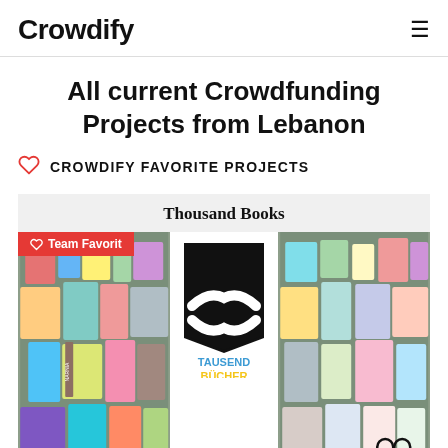Crowdify
All current Crowdfunding Projects from Lebanon
CROWDIFY FAVORITE PROJECTS
Thousand Books
[Figure (screenshot): Crowdfunding project card for 'Thousand Books' showing a red Team Favorit banner, a collage of colorful books on the left and right, and a central white panel with a black book logo and two white hands embracing it, with 'TAUSEND BÜCHER' text in blue and yellow below.]